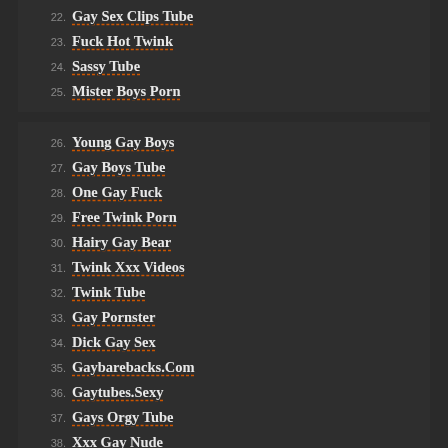22. Gay Sex Clips Tube
23. Fuck Hot Twink
24. Sassy Tube
25. Mister Boys Porn
26. Young Gay Boys
27. Gay Boys Tube
28. One Gay Fuck
29. Free Twink Porn
30. Hairy Gay Bear
31. Twink Xxx Videos
32. Twink Tube
33. Gay Pornster
34. Dick Gay Sex
35. Gaybarebacks.Com
36. Gaytubes.Sexy
37. Gays Orgy Tube
38. Xxx Gay Nude
39. All Twink Gay
40. Qx Boys
41. Hungry Twink